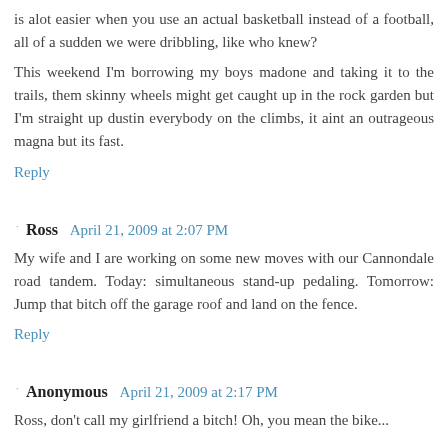is alot easier when you use an actual basketball instead of a football, all of a sudden we were dribbling, like who knew?
This weekend I'm borrowing my boys madone and taking it to the trails, them skinny wheels might get caught up in the rock garden but I'm straight up dustin everybody on the climbs, it aint an outrageous magna but its fast.
Reply
Ross  April 21, 2009 at 2:07 PM
My wife and I are working on some new moves with our Cannondale road tandem. Today: simultaneous stand-up pedaling. Tomorrow: Jump that bitch off the garage roof and land on the fence.
Reply
Anonymous  April 21, 2009 at 2:17 PM
Ross, don't call my girlfriend a bitch! Oh, you mean the bike...